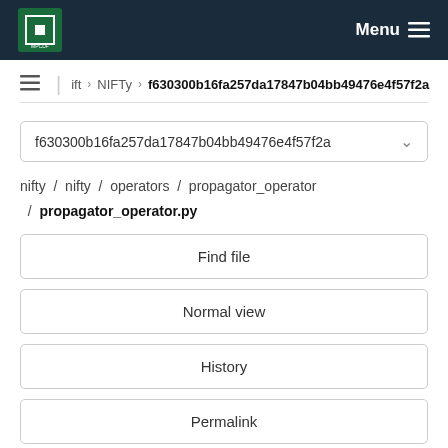MPCDF  Menu
ift > NIFTy > f630300b16fa257da17847b04bb49476e4f57f2a
f630300b16fa257da17847b04bb49476e4f57f2a
nifty / nifty / operators / propagator_operator / propagator_operator.py
Find file
Normal view
History
Permalink
propagator_operator.py  3.65 KB